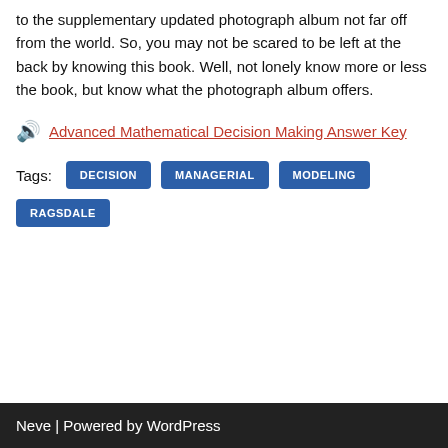to the supplementary updated photograph album not far off from the world. So, you may not be scared to be left at the back by knowing this book. Well, not lonely know more or less the book, but know what the photograph album offers.
🔈 Advanced Mathematical Decision Making Answer Key
Tags: DECISION  MANAGERIAL  MODELING  RAGSDALE
Neve | Powered by WordPress